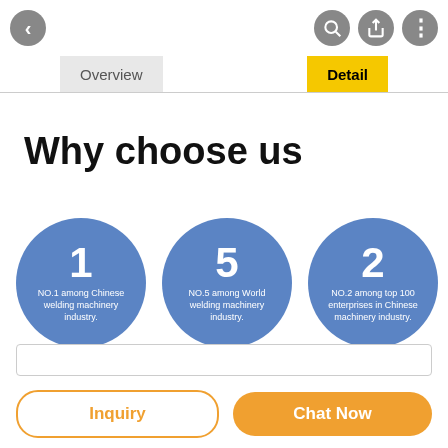< (back) (search) (share) (more)
Overview | Detail
Why choose us
[Figure (infographic): Three blue circles side by side. Circle 1: large '1' with text 'NO.1 among Chinese welding machinery industry.' Circle 2: large '5' with text 'NO.5 among World welding machinery industry.' Circle 3: large '2' with text 'NO.2 among top 100 enterprises in Chinese machinery industry.']
Inquiry  Chat Now